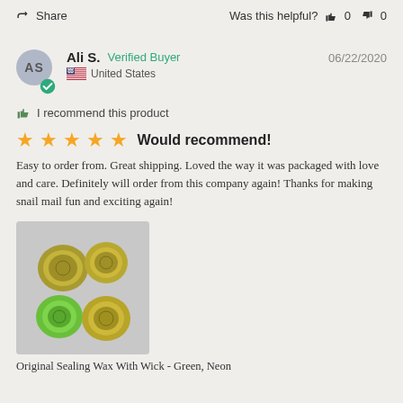Share   Was this helpful?  0  0
Ali S.  Verified Buyer   06/22/2020
United States
I recommend this product
★★★★★  Would recommend!
Easy to order from. Great shipping. Loved the way it was packaged with love and care. Definitely will order from this company again! Thanks for making snail mail fun and exciting again!
[Figure (photo): Four wax seals in green and gold tones on a gray background]
Original Sealing Wax With Wick - Green, Neon